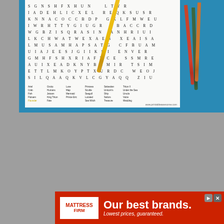[Figure (photo): Photo of a Little Mermaid themed word search puzzle on white paper placed on a blue surface, with colored pencils (yellow, red, green, orange) resting on it. The word search grid contains letters, and below it are word lists in columns. A watermark reads www.printableawesome.com]
[Figure (screenshot): Advertisement banner for Mattress Firm with red background, white Mattress Firm logo on left, and text 'Our best brands. Lowest prices. guaranteed.' in white]